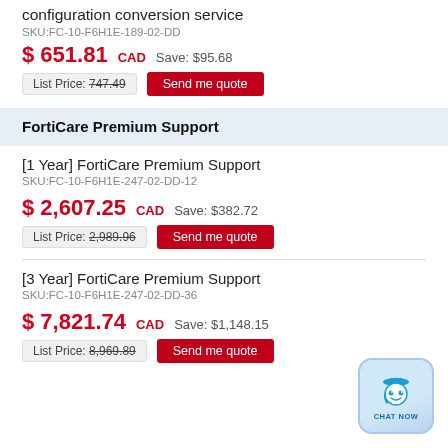configuration conversion service
SKU:FC-10-F6H1E-189-02-DD
$ 651.81 CAD   Save: $95.68
List Price: 747.49   Send me quote
FortiCare Premium Support
[1 Year] FortiCare Premium Support
SKU:FC-10-F6H1E-247-02-DD-12
$ 2,607.25 CAD   Save: $382.72
List Price: 2,989.96   Send me quote
[3 Year] FortiCare Premium Support
SKU:FC-10-F6H1E-247-02-DD-36
$ 7,821.74 CAD   Save: $1,148.15
List Price: 8,969.89   Send me quote
[Figure (illustration): Chat Now widget with robot face icon]